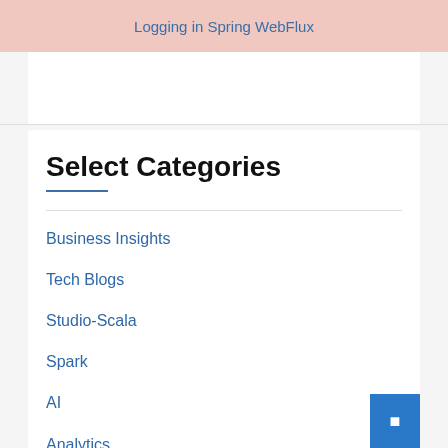Logging in Spring WebFlux
Select Categories
Business Insights
Tech Blogs
Studio-Scala
Spark
AI
Analytics
Blockchain